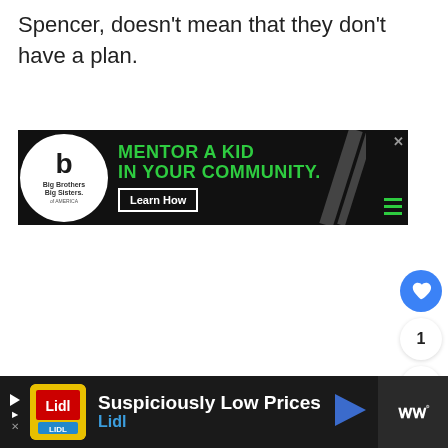Spencer, doesn't mean that they don't have a plan.
[Figure (screenshot): Big Brothers Big Sisters advertisement banner: 'MENTOR A KID IN YOUR COMMUNITY.' with Learn How button on black background with diagonal stripe design]
[Figure (screenshot): Social media action buttons: blue heart/like button, count of 1, and share button]
[Figure (screenshot): Lidl advertisement banner: 'Suspiciously Low Prices' with Lidl branding on dark background]